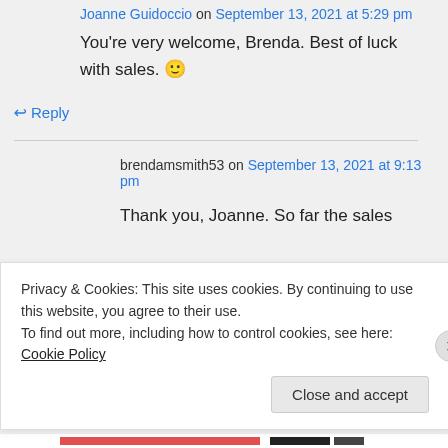Joanne Guidoccio on September 13, 2021 at 5:29 pm
You're very welcome, Brenda. Best of luck with sales. 🙂
↳ Reply
brendamsmith53 on September 13, 2021 at 9:13 pm
Thank you, Joanne. So far the sales
Privacy & Cookies: This site uses cookies. By continuing to use this website, you agree to their use. To find out more, including how to control cookies, see here: Cookie Policy
Close and accept